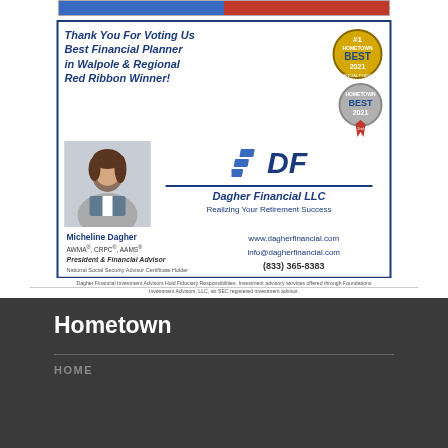[Figure (illustration): Top banner split blue and red, partial view of advertisement banner at top of page]
[Figure (infographic): Dagher Financial LLC advertisement. Headline: Thank You For Voting Us Best Financial Planner in Walpole & Regional Red Ribbon Winner! Features Hometown Best 2021 award badges, photo of Micheline Dagher, DF logo, company name, tagline Realizing Your Retirement Success, contact info: www.dagherfinancial.com, info@dagherfinancial.com, (833) 365-8383. Person info: Micheline Dagher, AWMA, CRPC, AAMS, President & Financial Advisor, National Social Security Advisor Certificate Holder. Disclaimer text about fiduciary responsibilities.]
Hometown
HOME